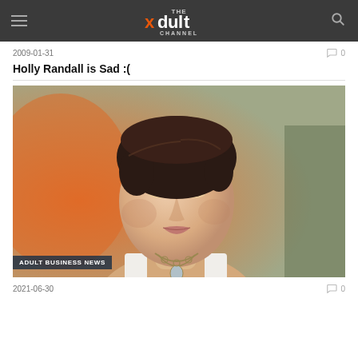THE xdult CHANNEL
2009-01-31   0
Holly Randall is Sad :(
[Figure (photo): Portrait photo of a young woman with short dark hair, wearing a white top and layered necklace, with an orange-lit background. Label overlay: ADULT BUSINESS NEWS]
2021-06-30   0